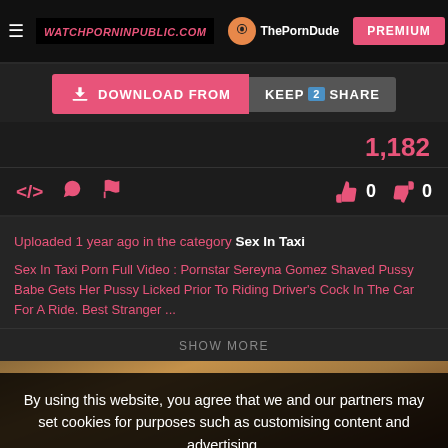WATCHPORNINPUBLIC.COM | ThePornDude | PREMIUM
DOWNLOAD FROM | KEEP 2 SHARE
1,182
0  0
Uploaded 1 year ago in the category Sex In Taxi
Sex In Taxi Porn Full Video : Pornstar Sereyna Gomez Shaved Pussy Babe Gets Her Pussy Licked Prior To Riding Driver's Cock In The Car For A Ride. Best Stranger ...
SHOW MORE
By using this website, you agree that we and our partners may set cookies for purposes such as customising content and advertising.
Understand